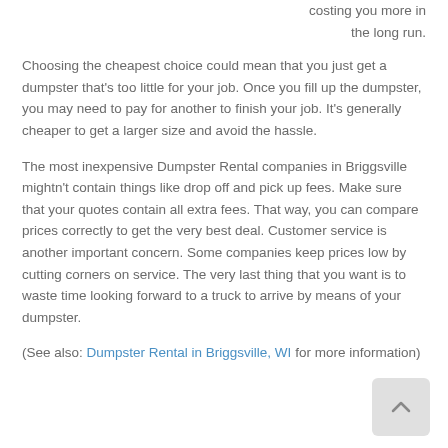costing you more in the long run.
Choosing the cheapest choice could mean that you just get a dumpster that's too little for your job. Once you fill up the dumpster, you may need to pay for another to finish your job. It's generally cheaper to get a larger size and avoid the hassle.
The most inexpensive Dumpster Rental companies in Briggsville mightn't contain things like drop off and pick up fees. Make sure that your quotes contain all extra fees. That way, you can compare prices correctly to get the very best deal. Customer service is another important concern. Some companies keep prices low by cutting corners on service. The very last thing that you want is to waste time looking forward to a truck to arrive by means of your dumpster.
(See also: Dumpster Rental in Briggsville, WI for more information)